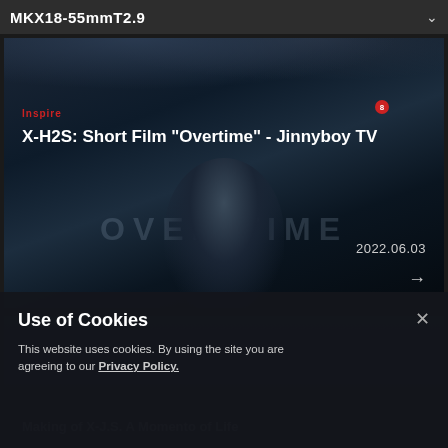MKX18-55mmT2.9
[Figure (photo): Film still from short film 'Overtime' showing a man in a white shirt standing in front of large letters spelling OVERTIME, with moody blue cinematic lighting. Red 'inspire' tag and notification dot visible. Title text: X-H2S: Short Film "Overtime" - Jinnyboy TV. Date: 2022.06.03.]
[Figure (photo): Partial view of a second video thumbnail with dark background and faint text.]
Making of X-J.S. A Momento of Life
Use of Cookies
This website uses cookies. By using the site you are agreeing to our Privacy Policy.